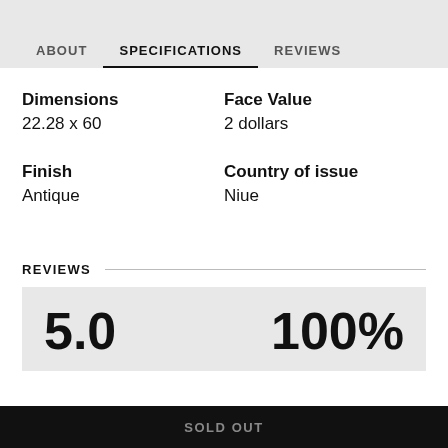ABOUT   SPECIFICATIONS   REVIEWS
Dimensions
22.28 x 60
Face Value
2 dollars
Finish
Antique
Country of issue
Niue
REVIEWS
5.0
100%
SOLD OUT